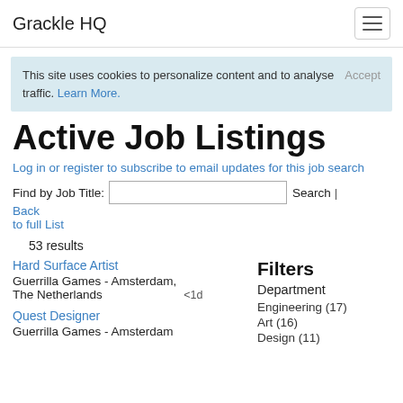Grackle HQ
This site uses cookies to personalize content and to analyse traffic. Learn More.
Active Job Listings
Log in or register to subscribe to email updates for this job search
Find by Job Title: [input] Search | Back to full List
53 results
Hard Surface Artist
Guerrilla Games - Amsterdam, The Netherlands
<1d
Quest Designer
Guerrilla Games - Amsterdam
Filters
Department
Engineering (17)
Art (16)
Design (11)